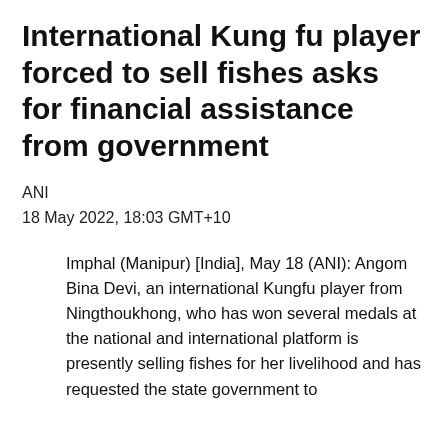International Kung fu player forced to sell fishes asks for financial assistance from government
ANI
18 May 2022, 18:03 GMT+10
Imphal (Manipur) [India], May 18 (ANI): Angom Bina Devi, an international Kungfu player from Ningthoukhong, who has won several medals at the national and international platform is presently selling fishes for her livelihood and has requested the state government to